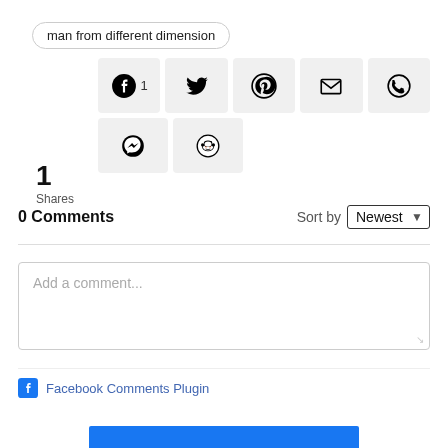man from different dimension
1 Shares
[Figure (screenshot): Share buttons row 1: Facebook (with count 1), Twitter, Pinterest, Email, WhatsApp]
[Figure (screenshot): Share buttons row 2: Messenger, Reddit]
0 Comments
Sort by Newest
Add a comment...
Facebook Comments Plugin